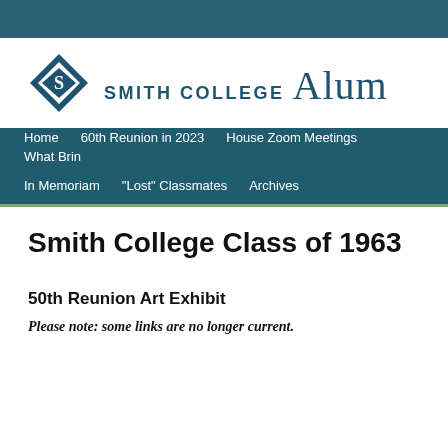Smith College Alumni
[Figure (logo): Smith College diamond logo with 'S' monogram in teal/dark teal color]
Home  60th Reunion in 2023  House Zoom Meetings  What Brin  In Memoriam  "Lost" Classmates  Archives
Smith College Class of 1963
50th Reunion Art Exhibit
Please note: some links are no longer current.